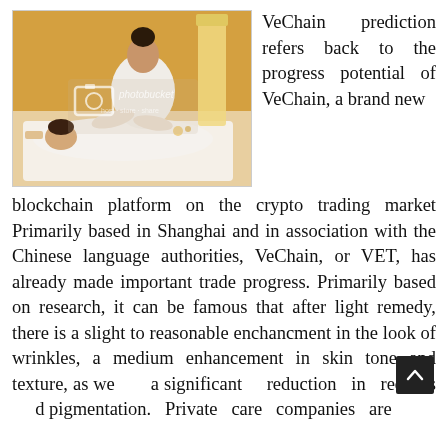[Figure (photo): A massage therapist in white attire performing a back massage on a client lying face down on a massage table, with warm amber/orange lighting and a decorative lamp in the background. A Photobucket watermark is visible.]
VeChain prediction refers back to the progress potential of VeChain, a brand new blockchain platform on the crypto trading market Primarily based in Shanghai and in association with the Chinese language authorities, VeChain, or VET, has already made important trade progress. Primarily based on research, it can be famous that after light remedy, there is a slight to reasonable enchancment in the look of wrinkles, a medium enhancement in skin tone and texture, as well a significant reduction in redness and pigmentation. Private care companies are